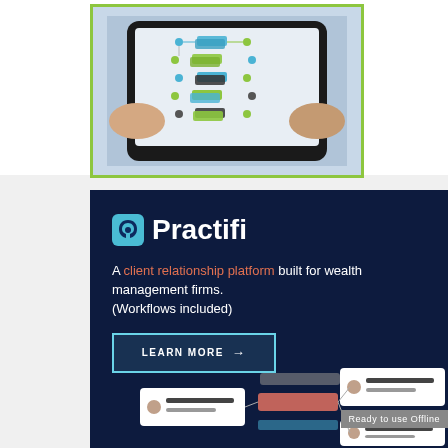[Figure (screenshot): Hands holding a tablet displaying a workflow/flowchart diagram with colorful layered cards connected by lines and dots, surrounded by a green border]
[Figure (infographic): Practifi advertisement on dark navy background. Logo with teal icon and white bold 'Practifi' text. Tagline: 'A client relationship platform built for wealth management firms. (Workflows included)'. A 'LEARN MORE' button with arrow. Below, a CRM interface preview showing user cards and workflow steps. 'Ready to use Offline' watermark overlay.]